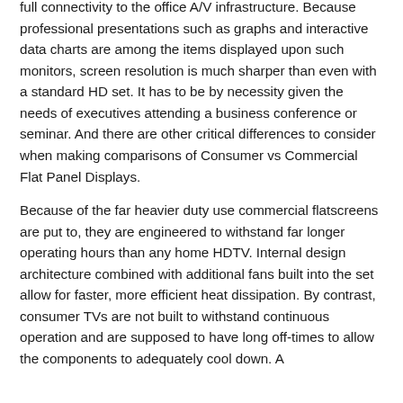full connectivity to the office A/V infrastructure. Because professional presentations such as graphs and interactive data charts are among the items displayed upon such monitors, screen resolution is much sharper than even with a standard HD set. It has to be by necessity given the needs of executives attending a business conference or seminar. And there are other critical differences to consider when making comparisons of Consumer vs Commercial Flat Panel Displays.
Because of the far heavier duty use commercial flatscreens are put to, they are engineered to withstand far longer operating hours than any home HDTV. Internal design architecture combined with additional fans built into the set allow for faster, more efficient heat dissipation. By contrast, consumer TVs are not built to withstand continuous operation and are supposed to have long off-times to allow the components to adequately cool down. A